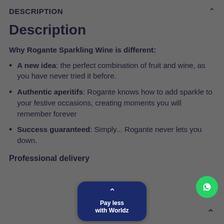DESCRIPTION
Description
Why Rogante Sparkling Wine is different:
A new idea: the perfect combination of fruit and wine, as you have never tried it before.
Authentic aperitifs: Rogante knows how to add sparkle to your festive occasions, creating moments you will remember forever
Success guaranteed: Simply... Rogante never lets you down.
Professional delivery
[Figure (infographic): Pay less with Worldz widget - dark blue rounded rectangle button with chevron up arrow and text 'Pay less with Worldz']
[Figure (logo): WhatsApp green circle button with WhatsApp phone/chat icon]